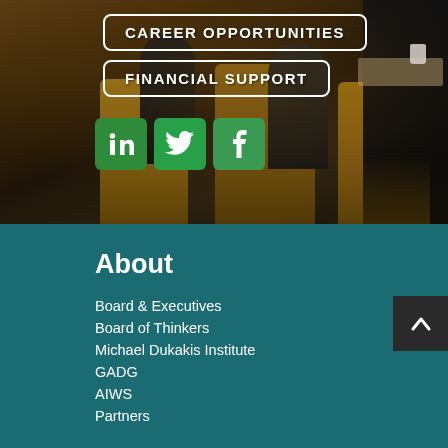[Figure (photo): Background photo of people sitting in chairs at a conference or meeting room, seen from behind. Dark figures in suits, amber/brown upholstered chairs, table surface with a mug visible on the right side.]
CAREER OPPORTUNITIES
FINANCIAL SUPPORT
[Figure (infographic): Three social media icon buttons: LinkedIn (green), Twitter (green), Facebook (teal-green)]
About
Board & Executives
Board of Thinkers
Michael Dukakis Institute
GADG
AIWS
Partners